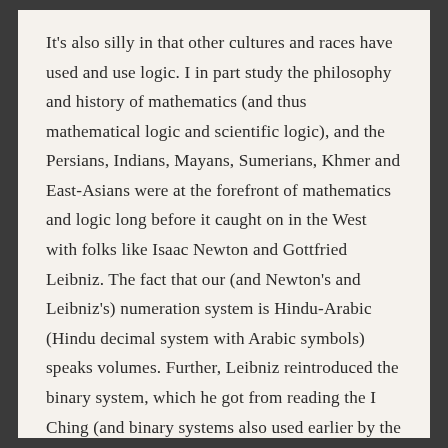It's also silly in that other cultures and races have used and use logic. I in part study the philosophy and history of mathematics (and thus mathematical logic and scientific logic), and the Persians, Indians, Mayans, Sumerians, Khmer and East-Asians were at the forefront of mathematics and logic long before it caught on in the West with folks like Isaac Newton and Gottfried Leibniz. The fact that our (and Newton's and Leibniz's) numeration system is Hindu-Arabic (Hindu decimal system with Arabic symbols) speaks volumes. Further, Leibniz reintroduced the binary system, which he got from reading the I Ching (and binary systems also used earlier by the Egyptians and Indians).